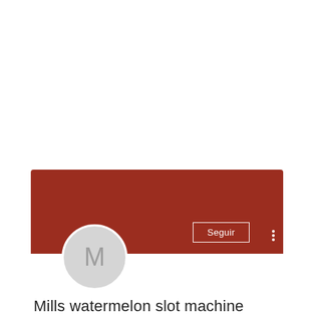[Figure (screenshot): Social media profile card UI with a dark red/brown banner background, an avatar circle with letter M, a 'Seguir' (Follow) button with white border, and a three-dot menu button.]
Mills watermelon slot machine
0 Seguidores • 0 Seguindo